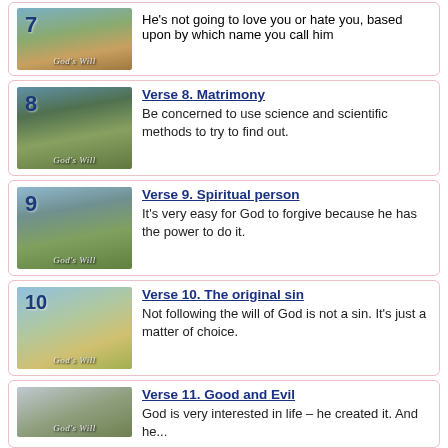[Figure (illustration): Landscape photo with number 7 and 'God's Will' label]
He's not going to love you or hate you, based upon by which name you call him
[Figure (illustration): Landscape photo with number 8 and 'God's Will' label]
Verse 8. Matrimony
Be concerned to use science and scientific methods to try to find out.
[Figure (illustration): Landscape photo with number 9 and 'God's Will' label]
Verse 9. Spiritual person
It's very easy for God to forgive because he has the power to do it.
[Figure (illustration): Landscape photo with number 10 and 'God's Will' label]
Verse 10. The original sin
Not following the will of God is not a sin. It's just a matter of choice.
[Figure (illustration): Landscape photo with number 11 and 'God's Will' label]
Verse 11. Good and Evil
God is very interested in life – he created it. And he...